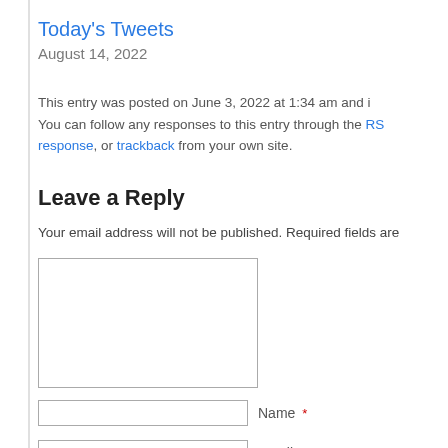Today's Tweets
August 14, 2022
This entry was posted on June 3, 2022 at 1:34 am and i… You can follow any responses to this entry through the RSS… response, or trackback from your own site.
Leave a Reply
Your email address will not be published. Required fields are
[Figure (other): Comment text area input box]
Name *
Email *